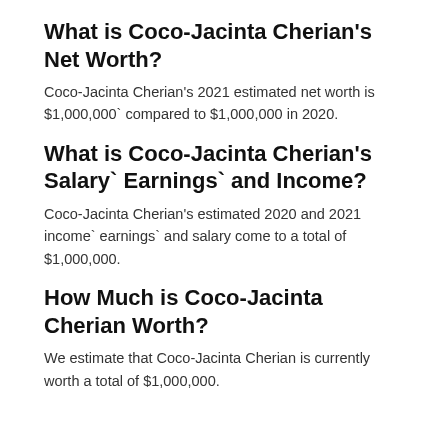What is Coco-Jacinta Cherian's Net Worth?
Coco-Jacinta Cherian's 2021 estimated net worth is $1,000,000` compared to $1,000,000 in 2020.
What is Coco-Jacinta Cherian's Salary` Earnings` and Income?
Coco-Jacinta Cherian's estimated 2020 and 2021 income` earnings` and salary come to a total of $1,000,000.
How Much is Coco-Jacinta Cherian Worth?
We estimate that Coco-Jacinta Cherian is currently worth a total of $1,000,000.